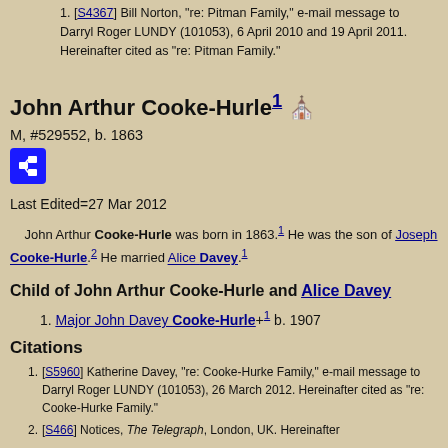1. [S4367] Bill Norton, "re: Pitman Family," e-mail message to Darryl Roger LUNDY (101053), 6 April 2010 and 19 April 2011. Hereinafter cited as "re: Pitman Family."
John Arthur Cooke-Hurle
M, #529552, b. 1863
Last Edited=27 Mar 2012
John Arthur Cooke-Hurle was born in 1863. He was the son of Joseph Cooke-Hurle. He married Alice Davey.
Child of John Arthur Cooke-Hurle and Alice Davey
1. Major John Davey Cooke-Hurle+ b. 1907
Citations
1. [S5960] Katherine Davey, "re: Cooke-Hurke Family," e-mail message to Darryl Roger LUNDY (101053), 26 March 2012. Hereinafter cited as "re: Cooke-Hurke Family."
2. [S466] Notices, The Telegraph, London, UK. Hereinafter